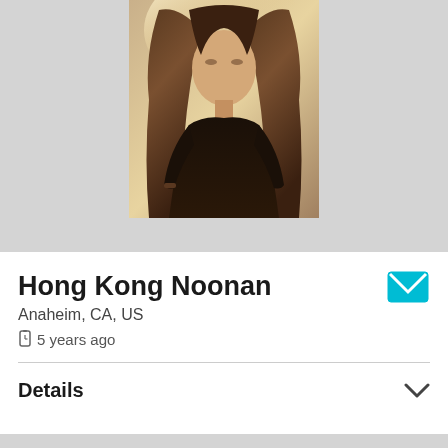[Figure (photo): Profile photo of a young woman with long straight hair wearing a dark top, photographed outdoors with warm sunlight background]
Hong Kong Noonan
Anaheim, CA, US
5 years ago
Details